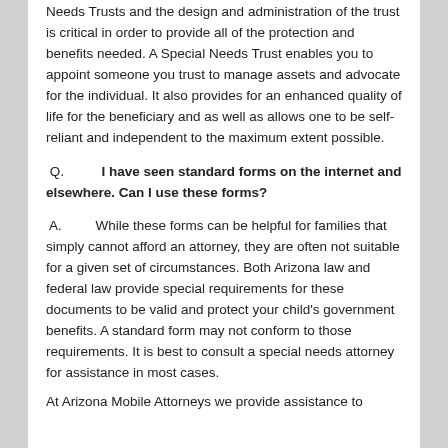Needs Trusts and the design and administration of the trust is critical in order to provide all of the protection and benefits needed. A Special Needs Trust enables you to appoint someone you trust to manage assets and advocate for the individual. It also provides for an enhanced quality of life for the beneficiary and as well as allows one to be self-reliant and independent to the maximum extent possible.
Q.   I have seen standard forms on the internet and elsewhere. Can I use these forms?
A.   While these forms can be helpful for families that simply cannot afford an attorney, they are often not suitable for a given set of circumstances. Both Arizona law and federal law provide special requirements for these documents to be valid and protect your child's government benefits. A standard form may not conform to those requirements. It is best to consult a special needs attorney for assistance in most cases.
At Arizona Mobile Attorneys we provide assistance to